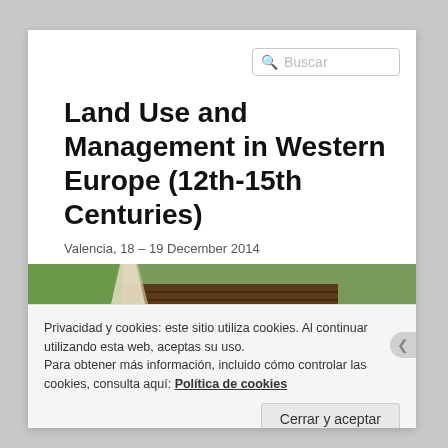Land Use and Management in Western Europe (12th-15th Centuries)
Valencia, 18 – 19 December 2014
[Figure (photo): Aerial or ground-level photograph of agricultural land with fields, a path, and a person visible in the lower right corner.]
Privacidad y cookies: este sitio utiliza cookies. Al continuar utilizando esta web, aceptas su uso.
Para obtener más información, incluido cómo controlar las cookies, consulta aquí: Política de cookies
Cerrar y aceptar